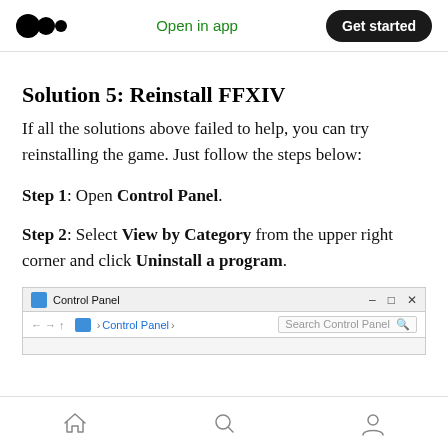Open in app | Get started
Solution 5: Reinstall FFXIV
If all the solutions above failed to help, you can try reinstalling the game. Just follow the steps below:
Step 1: Open Control Panel.
Step 2: Select View by Category from the upper right corner and click Uninstall a program.
[Figure (screenshot): Windows Control Panel window showing the title bar and address bar with 'Control Panel' path and Search Control Panel field.]
Home | Search | Profile